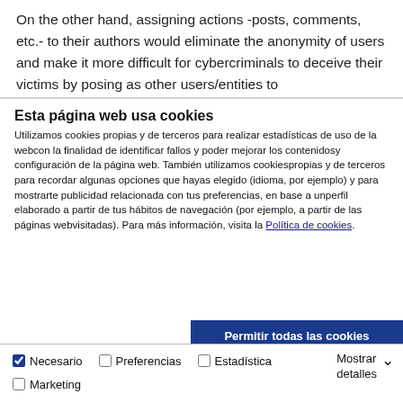On the other hand, assigning actions -posts, comments, etc.- to their authors would eliminate the anonymity of users and make it more difficult for cybercriminals to deceive their victims by posing as other users/entities to
Esta página web usa cookies
Utilizamos cookies propias y de terceros para realizar estadísticas de uso de la webcon la finalidad de identificar fallos y poder mejorar los contenidosy configuración de la página web. También utilizamos cookiespropias y de terceros para recordar algunas opciones que hayas elegido (idioma, por ejemplo) y para mostrarte publicidad relacionada con tus preferencias, en base a unperfil elaborado a partir de tus hábitos de navegación (por ejemplo, a partir de las páginas webvisitadas). Para más información, visita la Política de cookies.
Permitir todas las cookies
Permitir la selección
Solo usar cookies necesarias
Necesario
Preferencias
Estadística
Marketing
Mostrar detalles